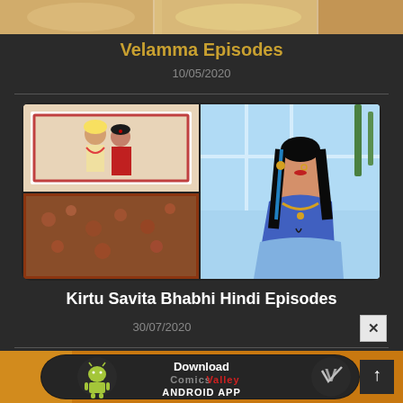[Figure (illustration): Top partial illustration strip with golden/warm tones]
Velamma Episodes
10/05/2020
[Figure (illustration): Kirtu Savita Bhabhi comic panels: top-left shows two characters in traditional Indian attire (wedding photo), bottom-left shows floral fabric/saree, right panel shows stylized Indian woman in blue blouse with black hair and jewelry against outdoor background]
Kirtu Savita Bhabhi Hindi Episodes
30/07/2020
[Figure (illustration): Download Comics Valley Android App banner with Android robot icon on left and stylized V logo on right, black rounded rectangle on golden background. Scroll-to-top arrow button at bottom right.]